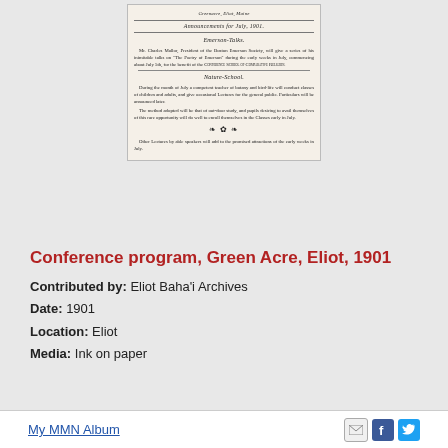[Figure (photo): Scanned historical conference program document for Green Acre, Eliot, Maine, 1901, showing announcements for July including Emerson-Talks and Nature-School sections with decorative ornament]
Conference program, Green Acre, Eliot, 1901
Contributed by: Eliot Baha'i Archives
Date: 1901
Location: Eliot
Media: Ink on paper
My MMN Album